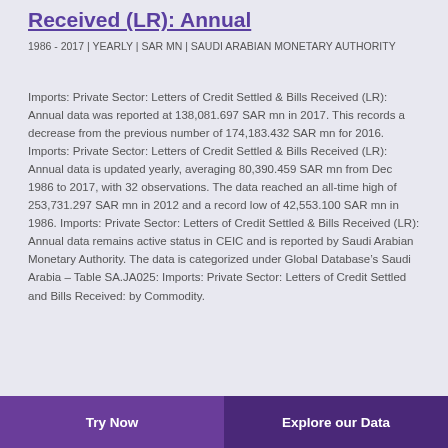Received (LR): Annual
1986 - 2017 | YEARLY | SAR MN | SAUDI ARABIAN MONETARY AUTHORITY
Imports: Private Sector: Letters of Credit Settled & Bills Received (LR): Annual data was reported at 138,081.697 SAR mn in 2017. This records a decrease from the previous number of 174,183.432 SAR mn for 2016. Imports: Private Sector: Letters of Credit Settled & Bills Received (LR): Annual data is updated yearly, averaging 80,390.459 SAR mn from Dec 1986 to 2017, with 32 observations. The data reached an all-time high of 253,731.297 SAR mn in 2012 and a record low of 42,553.100 SAR mn in 1986. Imports: Private Sector: Letters of Credit Settled & Bills Received (LR): Annual data remains active status in CEIC and is reported by Saudi Arabian Monetary Authority. The data is categorized under Global Database’s Saudi Arabia – Table SA.JA025: Imports: Private Sector: Letters of Credit Settled and Bills Received: by Commodity.
Try Now | Explore our Data